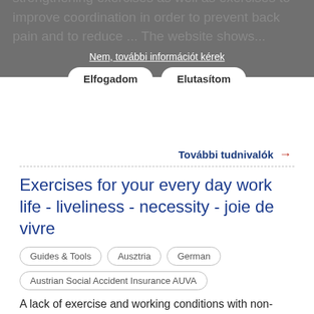strengthening exercises as well as exercises to improve coordination in order to prevent back pain and to reduce ... The website shows...
Nem, további információt kérek
Elfogadom   Elutasítom
További tudnivalók →
Exercises for your every day work life - liveliness - necessity - joie de vivre
Guides & Tools
Ausztria
German
Austrian Social Accident Insurance AUVA
A lack of exercise and working conditions with non-ergonomic postures can lead to musculoskeletal diseases (MSDs). This booklet presents simple exercises, that can be performed at your workplace or at home without any equipment tools and hands. The exercises help to strengthen the...